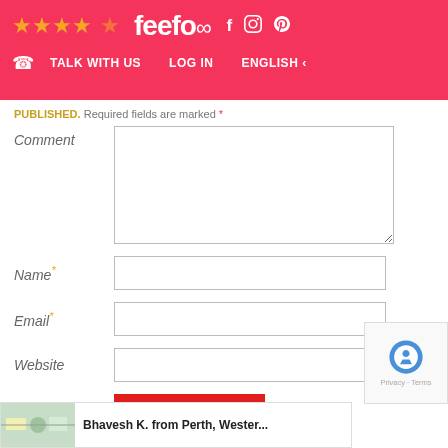[Figure (screenshot): Website header with pink/red background showing 4-star Feefo rating, feefo logo, social media icons (Facebook, Instagram, Pinterest), navigation links (Talk With Us, Log In, English)]
PUBLISHED. Required fields are marked *
Comment
Name *
Email *
Website
Post Comment
[Figure (screenshot): reCAPTCHA widget with Google logo, Privacy and Terms text]
Bhavesh K. from Perth, Wester...